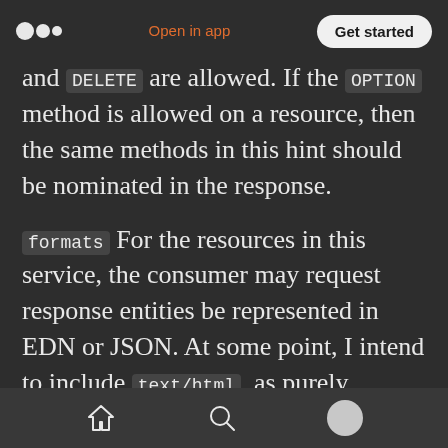Medium app header — logo, Open in app, Get started
and DELETE are allowed. If the OPTION method is allowed on a resource, then the same methods in this hint should be nominated in the response.
formats For the resources in this service, the consumer may request response entities be represented in EDN or JSON. At some point, I intend to include text/html, as purely semantic HTML is a perfectly good format for representing data transferred between systems (if you use XML, you implicitly agree). It also happens to be very useful in a resource-oriented client architecture or self-contained system for
Home, Search, Profile navigation icons